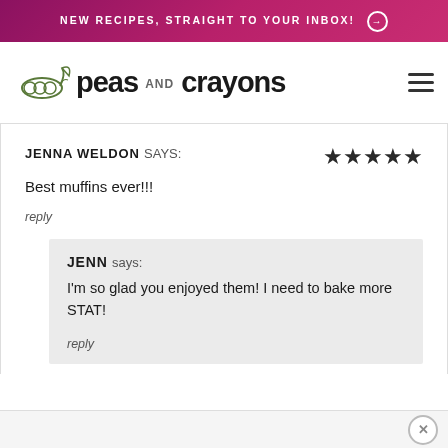NEW RECIPES, STRAIGHT TO YOUR INBOX!
[Figure (logo): Peas and Crayons blog logo with illustrated pea pod and script/handwritten text]
JENNA WELDON says: ★★★★★
Best muffins ever!!!
reply
JENN says:
I'm so glad you enjoyed them! I need to bake more STAT!
reply